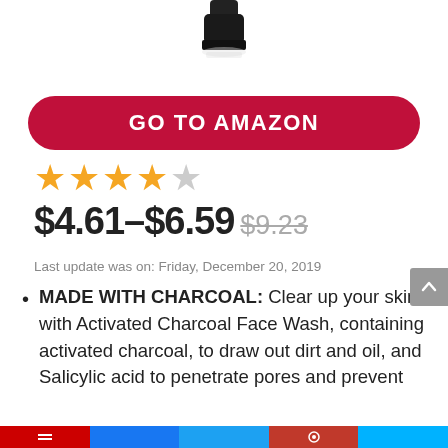[Figure (photo): Partial view of a black bottle/product top against white background]
GO TO AMAZON
[Figure (other): 4 orange star rating]
$4.61–$6.59 $9.23
Last update was on: Friday, December 20, 2019
MADE WITH CHARCOAL: Clear up your skin with Activated Charcoal Face Wash, containing activated charcoal, to draw out dirt and oil, and Salicylic acid to penetrate pores and prevent